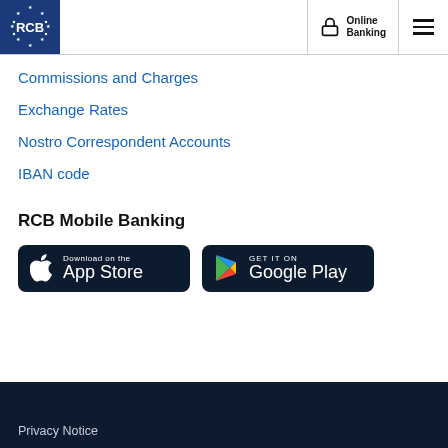[Figure (logo): RCB Bank logo — blue square with EU stars and RCB text]
Commissions and Charges
Exchange Rates
Nostro Correspondent Accounts
IBAN code
RCB Mobile Banking
[Figure (illustration): Download on the App Store button (dark background, Apple logo)]
[Figure (illustration): GET IT ON Google Play button (dark background, Google Play logo)]
Privacy Notice